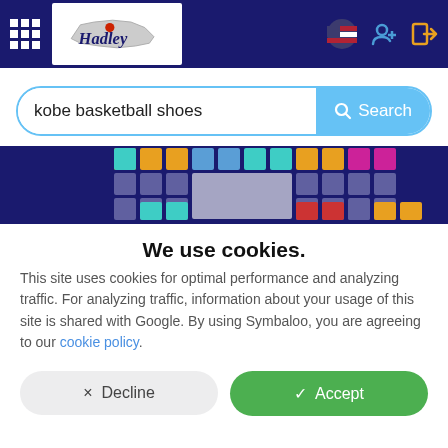[Figure (screenshot): Website navigation bar with grid icon, Hadley logo, flag icon, add user icon, and login icon on dark navy background]
kobe basketball shoes
[Figure (screenshot): Symbaloo grid tile preview with colorful square tiles on navy background]
We use cookies.
This site uses cookies for optimal performance and analyzing traffic. For analyzing traffic, information about your usage of this site is shared with Google. By using Symbaloo, you are agreeing to our cookie policy.
× Decline
✓ Accept